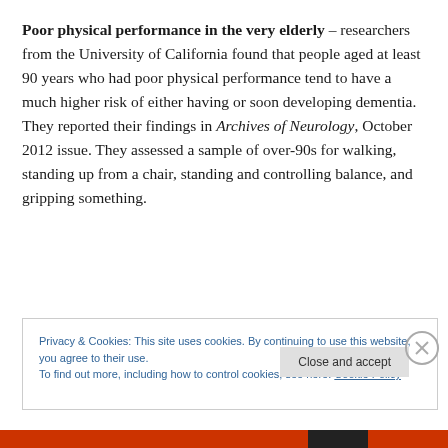Poor physical performance in the very elderly – researchers from the University of California found that people aged at least 90 years who had poor physical performance tend to have a much higher risk of either having or soon developing dementia. They reported their findings in Archives of Neurology, October 2012 issue. They assessed a sample of over-90s for walking, standing up from a chair, standing and controlling balance, and gripping something.
Privacy & Cookies: This site uses cookies. By continuing to use this website, you agree to their use. To find out more, including how to control cookies, see here: Cookie Policy